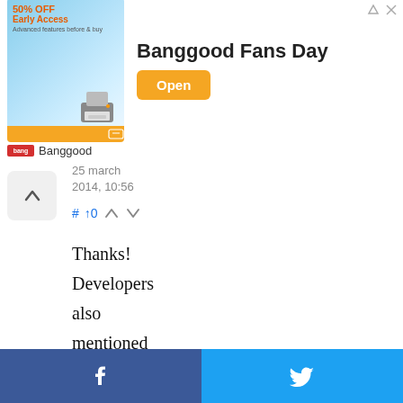[Figure (screenshot): Banggood advertisement banner with 50% OFF Early Access text, a 3D printer image, 'Banggood Fans Day' title text, and an orange 'Open' button. Below is the Banggood logo with name.]
25 March 2014, 10:56
# ↑0 ↑ ↓
Thanks! Developers also mentioned that they will probably introduce horse racing! So don't forget to feed your horse :)
[Figure (infographic): Social sharing footer bar with Facebook (dark blue) on the left and Twitter (light blue) on the right, each showing their respective icons.]